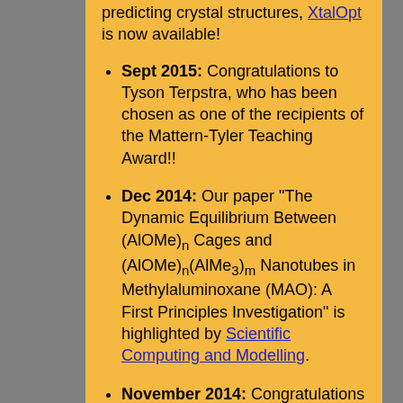predicting crystal structures, XtalOpt is now available!
Sept 2015: Congratulations to Tyson Terpstra, who has been chosen as one of the recipients of the Mattern-Tyler Teaching Award!!
Dec 2014: Our paper "The Dynamic Equilibrium Between (AlOMe)n Cages and (AlOMe)n(AlMe3)m Nanotubes in Methylaluminoxane (MAO): A First Principles Investigation" is highlighted by Scientific Computing and Modelling.
November 2014: Congratulations to Eva Zurek, who was awarded the "Quantum Systems in Chemistry and Physics